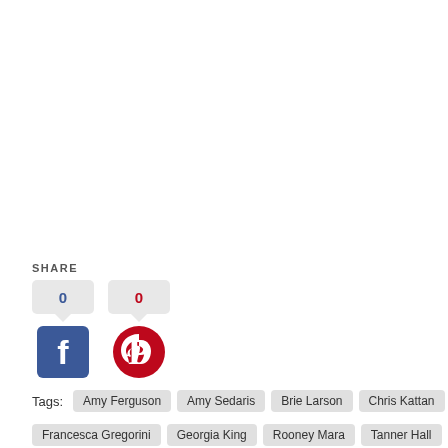SHARE
[Figure (infographic): Social share buttons for Facebook (count: 0) and Pinterest (count: 0), each with a speech bubble showing 0 above the icon.]
Tags: Amy Ferguson  Amy Sedaris  Brie Larson  Chris Kattan  Francesca Gregorini  Georgia King  Rooney Mara  Tanner Hall